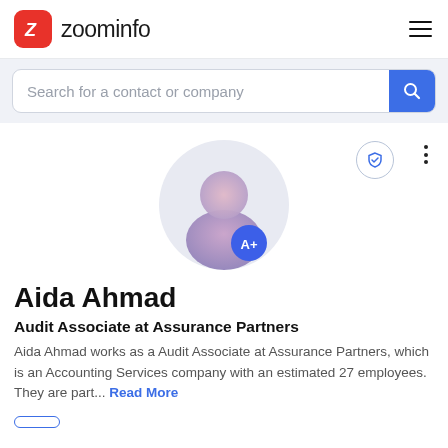zoominfo
Search for a contact or company
[Figure (illustration): Generic person avatar silhouette with gradient purple/pink coloring inside a light grey circle, with a blue 'A+' badge in the lower right]
Aida Ahmad
Audit Associate at Assurance Partners
Aida Ahmad works as a Audit Associate at Assurance Partners, which is an Accounting Services company with an estimated 27 employees. They are part... Read More